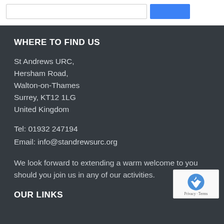WHERE TO FIND US
St Andrews URC,
Hersham Road,
Walton-on-Thames
Surrey, KT12 1LG
United Kingdom
Tel: 01932 247194
Email: info@standrewsurc.org
We look forward to extending a warm welcome to you should you join us in any of our activities.
OUR LINKS